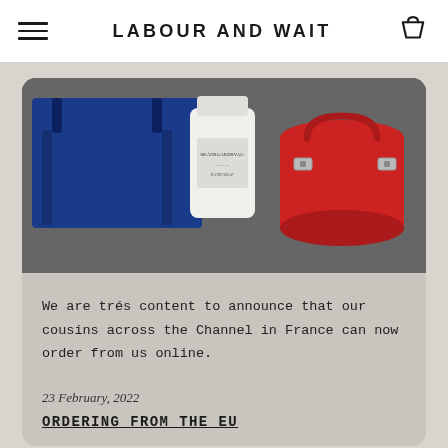LABOUR AND WAIT
[Figure (photo): Product photo showing a blue tote bag, a white cylindrical container/bottle with label, and a red cylindrical bag with buckles, all on a grey surface.]
We are trés content to announce that our cousins across the Channel in France can now order from us online.
See more: 2022
23 February, 2022
ORDERING FROM THE EU